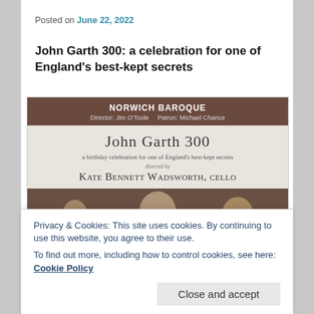Posted on June 22, 2022
John Garth 300: a celebration for one of England's best-kept secrets
[Figure (illustration): Concert poster for Norwich Baroque, John Garth 300 event directed by Kate Bennett Wadsworth, cello. Header: NORWICH BAROQUE, Director: Jim O'Toole, Patron: Michael Chance. Body: JOHN GARTH 300, a birthday celebration for one of England's best-kept secrets, directed by Kate Bennett Wadsworth, cello. Lower half shows an old painting with figures.]
Privacy & Cookies: This site uses cookies. By continuing to use this website, you agree to their use.
To find out more, including how to control cookies, see here: Cookie Policy
Close and accept